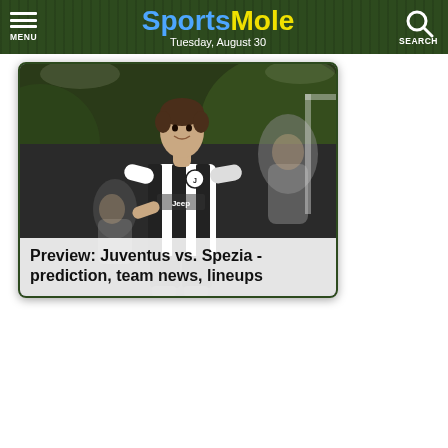Sports Mole — Tuesday, August 30
[Figure (photo): Juventus footballer in black-and-white striped Jeep-sponsored kit celebrating, with teammates blurred in background]
Preview: Juventus vs. Spezia - prediction, team news, lineups